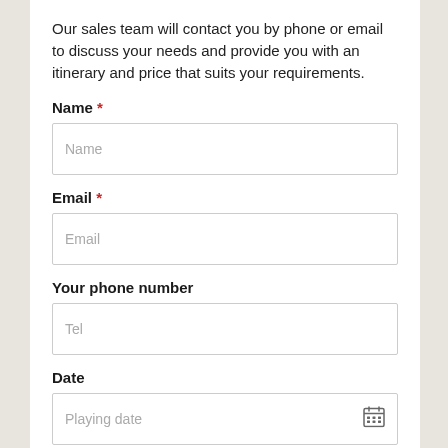Our sales team will contact you by phone or email to discuss your needs and provide you with an itinerary and price that suits your requirements.
Name *
Name
Email *
Email
Your phone number
Tel
Date
Playing date